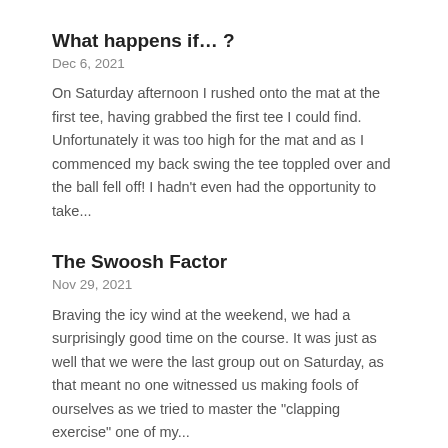What happens if… ?
Dec 6, 2021
On Saturday afternoon I rushed onto the mat at the first tee, having grabbed the first tee I could find. Unfortunately it was too high for the mat and as I commenced my back swing the tee toppled over and the ball fell off!  I hadn't even had the opportunity to take...
The Swoosh Factor
Nov 29, 2021
Braving the icy wind at the weekend, we had a surprisingly good time on the course.  It was just as well that we were the last group out on Saturday, as that meant no one witnessed us making fools of ourselves as we tried to master the "clapping exercise" one of my...